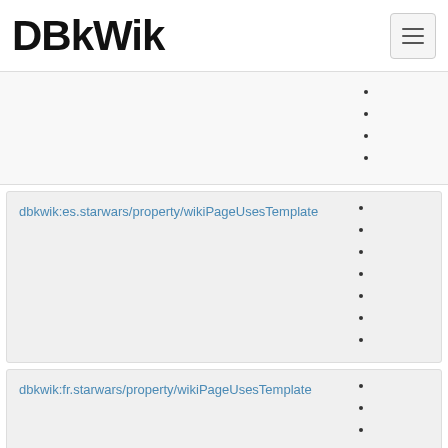DBkWik
(bullet items - partially visible, top right)
dbkwik:es.starwars/property/wikiPageUsesTemplate
(bullet items - partially visible, right side, 7 items)
dbkwik:fr.starwars/property/wikiPageUsesTemplate
(bullet items - partially visible, right side, 5 items)